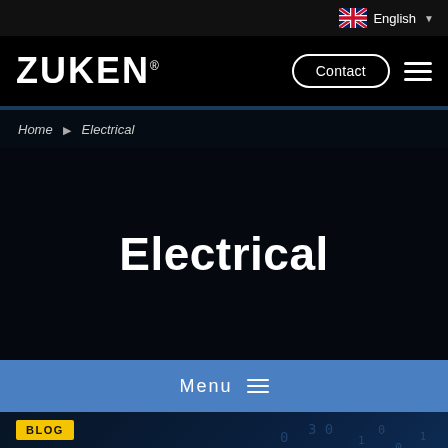English
[Figure (logo): Zuken logo in white on black navbar with Contact button and hamburger menu]
Home ▶ Electrical
Electrical
Menu ≡
[Figure (screenshot): Blog card with BLOG tag and heading ECAD Data Migration vs. Data on dark blue background with binary/digit pattern]
ECAD Data Migration vs. Data